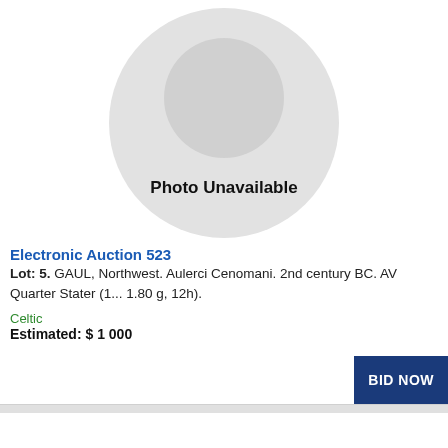[Figure (photo): Photo Unavailable placeholder - circular gray image with text 'Photo Unavailable']
Electronic Auction 523
Lot: 5. GAUL, Northwest. Aulerci Cenomani. 2nd century BC. AV Quarter Stater (1... 1.80 g, 12h).
Celtic
Estimated: $ 1 000
[Figure (photo): Photo Unavailable placeholder area - blank white space for second lot image]
Electronic Auction 523
Lot: 7. GAUL, Northwest. Namnetes. 2nd-1st centuries BC. Base AV Quarter Stato...